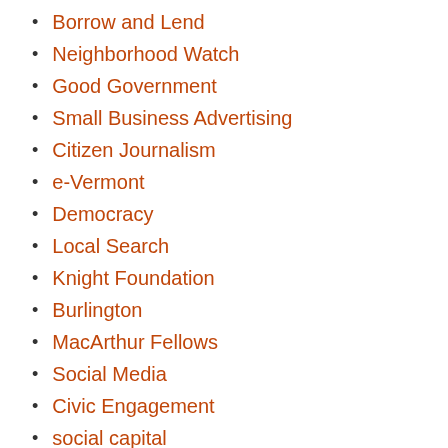Borrow and Lend
Neighborhood Watch
Good Government
Small Business Advertising
Citizen Journalism
e-Vermont
Democracy
Local Search
Knight Foundation
Burlington
MacArthur Fellows
Social Media
Civic Engagement
social capital
Social Networking
Vermont
Community Building
Neighborhood
Local Online